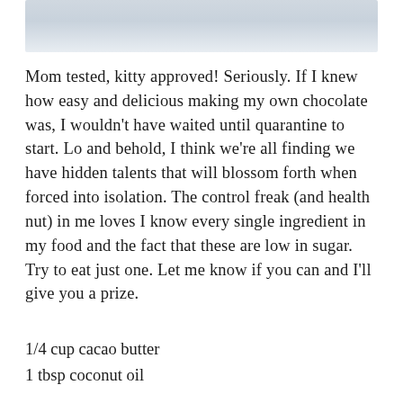[Figure (photo): Partial photo at top of page, appears to be a light blue/grey background with a dark curved object visible]
Mom tested, kitty approved! Seriously. If I knew how easy and delicious making my own chocolate was, I wouldn't have waited until quarantine to start. Lo and behold, I think we're all finding we have hidden talents that will blossom forth when forced into isolation. The control freak (and health nut) in me loves I know every single ingredient in my food and the fact that these are low in sugar. Try to eat just one. Let me know if you can and I'll give you a prize.
1/4 cup cacao butter
1 tbsp coconut oil